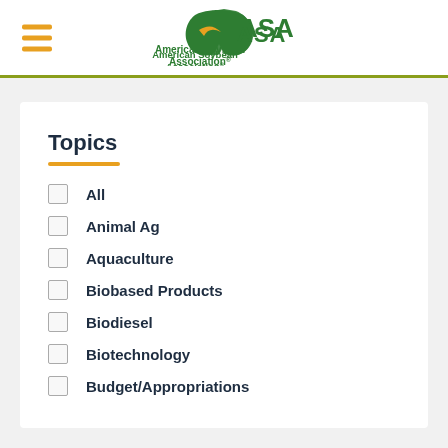American Soybean Association
Topics
All
Animal Ag
Aquaculture
Biobased Products
Biodiesel
Biotechnology
Budget/Appropriations